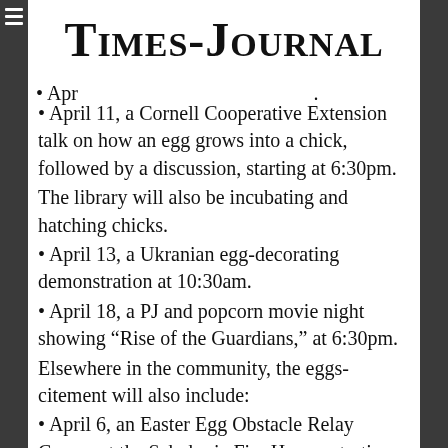Times-Journal
• Ap[ril ...] [partial/cut off top]
• April 11, a Cornell Cooperative Extension talk on how an egg grows into a chick, followed by a discussion, starting at 6:30pm.
The library will also be incubating and hatching chicks.
• April 13, a Ukranian egg-decorating demonstration at 10:30am.
• April 18, a PJ and popcorn movie night showing “Rise of the Guardians,” at 6:30pm.
Elsewhere in the community, the eggs-citement will also include:
• April 6, an Easter Egg Obstacle Relay Course at the Schoharie Fire House, starting at 10am.
• April 10, Joseph and Berna Heyman, owners of the museum, will give an illustrated lecture of the history of the egg collection at 7pm at the Old Stone Fort.